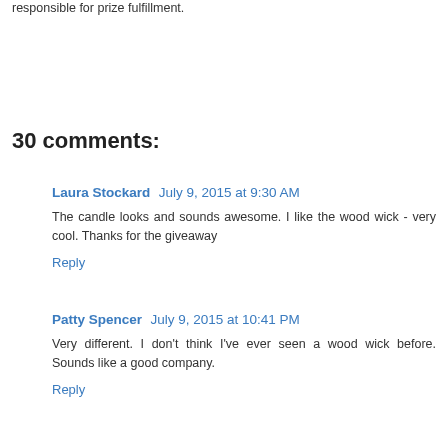responsible for prize fulfillment.
30 comments:
Laura Stockard July 9, 2015 at 9:30 AM
The candle looks and sounds awesome. I like the wood wick - very cool. Thanks for the giveaway
Reply
Patty Spencer July 9, 2015 at 10:41 PM
Very different. I don't think I've ever seen a wood wick before. Sounds like a good company.
Reply